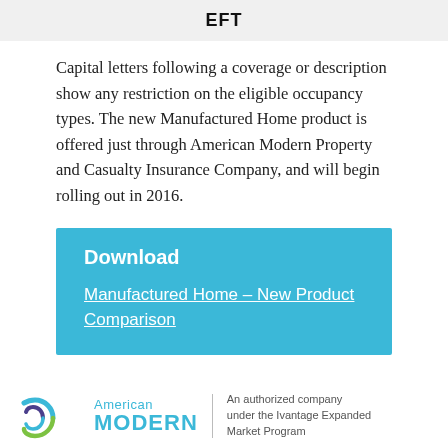EFT
Capital letters following a coverage or description show any restriction on the eligible occupancy types. The new Manufactured Home product is offered just through American Modern Property and Casualty Insurance Company, and will begin rolling out in 2016.
Download
Manufactured Home – New Product Comparison
American Modern | An authorized company under the Ivantage Expanded Market Program